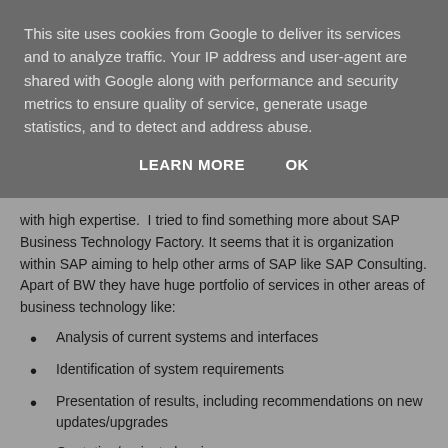This site uses cookies from Google to deliver its services and to analyze traffic. Your IP address and user-agent are shared with Google along with performance and security metrics to ensure quality of service, generate usage statistics, and to detect and address abuse.
LEARN MORE    OK
with high expertise.  I tried to find something more about SAP Business Technology Factory. It seems that it is organization within SAP aiming to help other arms of SAP like SAP Consulting. Apart of BW they have huge portfolio of services in other areas of business technology like:
Analysis of current systems and interfaces
Identification of system requirements
Presentation of results, including recommendations on new updates/upgrades
Quotation/project planning
User workshops